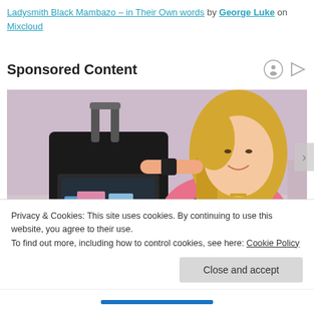Ladysmith Black Mambazo – in Their Own words by George Luke on Mixcloud
Sponsored Content
[Figure (photo): A smiling blonde woman in a pink striped athletic outfit kneeling beside a black rolling suitcase with a clear pocket showing travel items]
Privacy & Cookies: This site uses cookies. By continuing to use this website, you agree to their use.
To find out more, including how to control cookies, see here: Cookie Policy
Close and accept